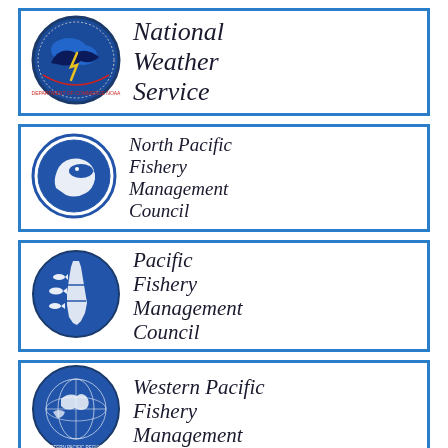[Figure (logo): National Weather Service logo with circular NOAA emblem and italic text 'National Weather Service']
[Figure (logo): North Pacific Fishery Management Council logo with circular fish emblem and italic text 'North Pacific Fishery Management Council']
[Figure (logo): Pacific Fishery Management Council logo with circular map emblem and italic text 'Pacific Fishery Management Council']
[Figure (logo): Western Pacific Fishery Management Council logo with circular globe emblem and italic text 'Western Pacific Fishery Management']